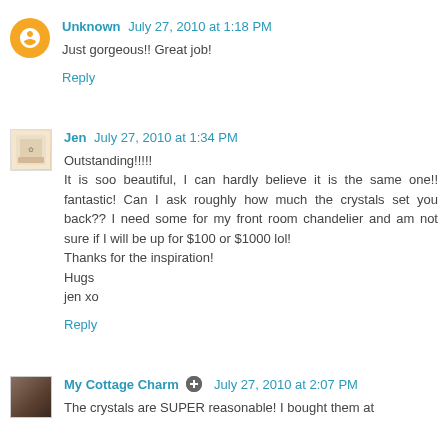Unknown July 27, 2010 at 1:18 PM
Just gorgeous!! Great job!
Reply
Jen July 27, 2010 at 1:34 PM
Outstanding!!!!!
It is soo beautiful, I can hardly believe it is the same one!! fantastic! Can I ask roughly how much the crystals set you back?? I need some for my front room chandelier and am not sure if I will be up for $100 or $1000 lol!
Thanks for the inspiration!
Hugs
jen xo
Reply
My Cottage Charm July 27, 2010 at 2:07 PM
The crystals are SUPER reasonable! I bought them at